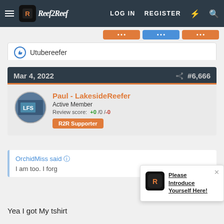Reef2Reef  LOG IN  REGISTER
Utubereefer
Mar 4, 2022  #6,666
Paul - LakesideReefer
Active Member
Review score: +0 /0 /-0
R2R Supporter
OrchidMiss said
I am too. I forg
[Figure (screenshot): Popup notification with Reef2Reef logo saying 'Please Introduce Yourself Here!']
Yea I got My tshirt